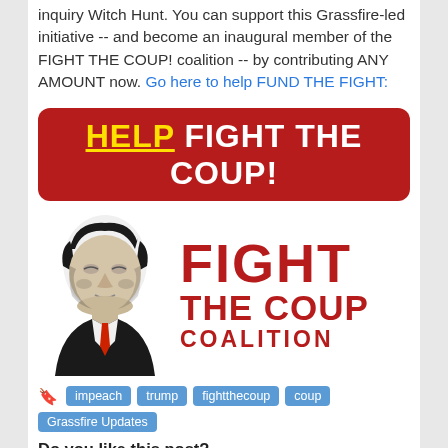inquiry Witch Hunt. You can support this Grassfire-led initiative -- and become an inaugural member of the FIGHT THE COUP! coalition -- by contributing ANY AMOUNT now. Go here to help FUND THE FIGHT:
[Figure (illustration): Red rounded rectangle button with yellow underlined HELP and white text FIGHT THE COUP!]
[Figure (logo): Fight The Coup Coalition logo: black and white stylized portrait of Trump on the left, bold red text FIGHT THE COUP COALITION on the right]
impeach
trump
fightthecoup
coup
Grassfire Updates
Do you like this post?